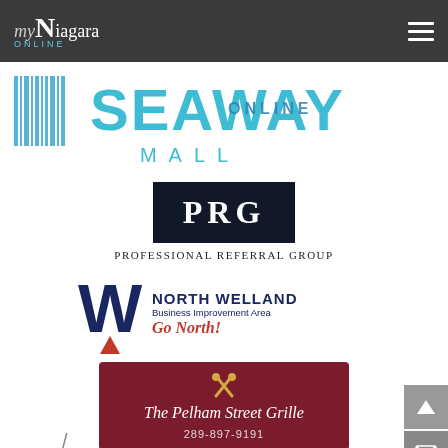myNiagara ONLINE
[Figure (logo): Seaway Mall logo with barcode-style graphic and teal/blue text reading SEAWAY MALL]
[Figure (logo): PRG Professional Referral Group logo — black box with white PRG text, below: Professional Referral Group in serif small caps]
[Figure (logo): North Welland Business Improvement Area logo — navy W with red arrow, NORTH WELLAND text, Business Improvement Area subtitle, Go North! in red script]
[Figure (logo): The Pelham Street Grille logo — dark red/maroon background, crossed fork and spoon icon, italic white text The Pelham Street Grille, phone 289-897-9191]